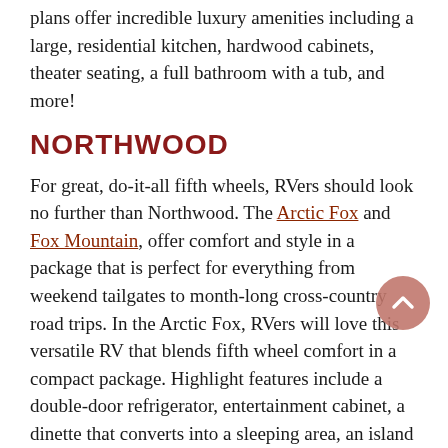plans offer incredible luxury amenities including a large, residential kitchen, hardwood cabinets, theater seating, a full bathroom with a tub, and more!
NORTHWOOD
For great, do-it-all fifth wheels, RVers should look no further than Northwood. The Arctic Fox and Fox Mountain, offer comfort and style in a package that is perfect for everything from weekend tailgates to month-long cross-country road trips. In the Arctic Fox, RVers will love this versatile RV that blends fifth wheel comfort in a compact package. Highlight features include a double-door refrigerator, entertainment cabinet, a dinette that converts into a sleeping area, an island sink, and more!
The Fox Mountain, the larger of the two Northwood fifth wheel trailers available at Lazydays RV, offers a similar tough build with great interior comfort. RVers will love